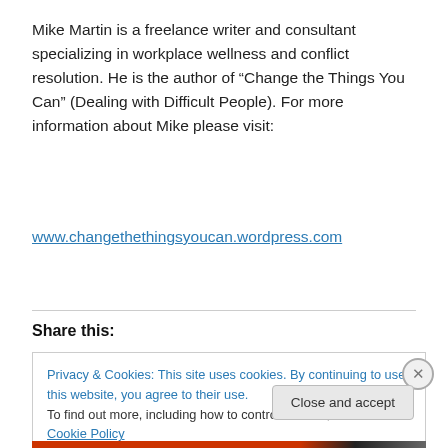Mike Martin is a freelance writer and consultant specializing in workplace wellness and conflict resolution. He is the author of “Change the Things You Can” (Dealing with Difficult People). For more information about Mike please visit:
www.changethethingsyoucan.wordpress.com
Share this:
Privacy & Cookies: This site uses cookies. By continuing to use this website, you agree to their use.
To find out more, including how to control cookies, see here: Cookie Policy
Close and accept